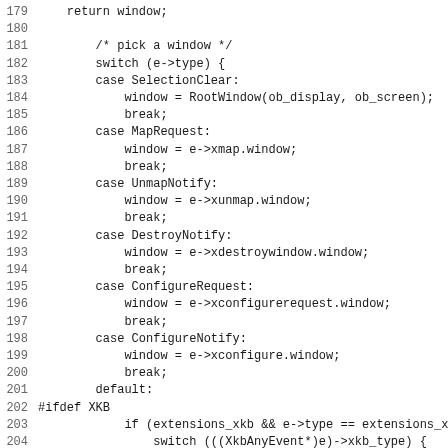[Figure (screenshot): Source code listing (C) showing lines 179-211, a switch statement handling X11 window events including SelectionClear, MapRequest, UnmapNotify, DestroyNotify, ConfigureRequest, ConfigureNotify, and an #ifdef XKB block handling XkbBellNotify events.]